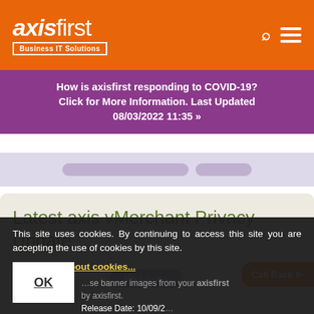[Figure (logo): axisfirst Business IT Solutions logo on orange background with search and menu icons]
How is axisfirst responding to COVID-19? Click for More Information. Last Updated 08/03/2022 11:35 »
Latest axis vMerchant Privacy Update
This site uses cookies. By continuing to access this site you are accepting the use of cookies by this site.
Read more about cookies...
OK